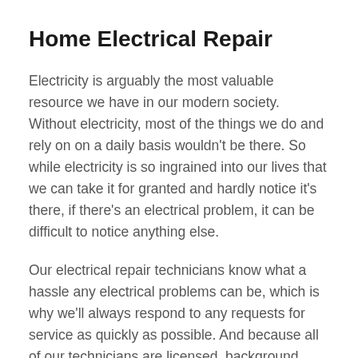Home Electrical Repair
Electricity is arguably the most valuable resource we have in our modern society. Without electricity, most of the things we do and rely on on a daily basis wouldn't be there. So while electricity is so ingrained into our lives that we can take it for granted and hardly notice it's there, if there's an electrical problem, it can be difficult to notice anything else.
Our electrical repair technicians know what a hassle any electrical problems can be, which is why we'll always respond to any requests for service as quickly as possible. And because all of our technicians are licensed, background checked, and professionally trained, you're guaranteed to receive the best quality service and workmanship available when you call us.